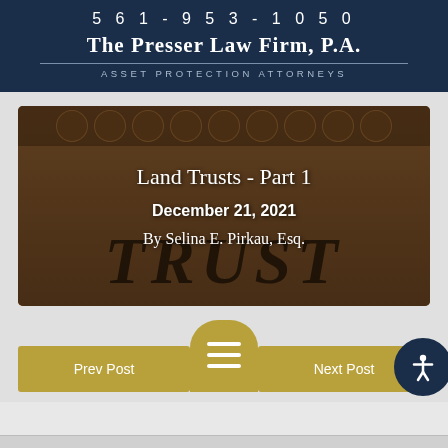561-953-1050
The Presser Law Firm, P.A.
Asset Protection Attorneys
[Figure (photo): Sepia-toned image of an embossed 'TRUST' document with ornamental flourishes at top. Overlaid text shows article title, date, and author.]
Land Trusts - Part 1
December 21, 2021
By Selina E. Pirkau, Esq.
Prev Post
Next Post